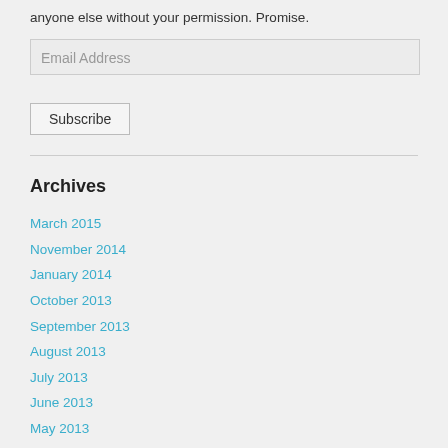anyone else without your permission. Promise.
Email Address
Subscribe
Archives
March 2015
November 2014
January 2014
October 2013
September 2013
August 2013
July 2013
June 2013
May 2013
April 2013
March 2013
November 2012
Blogroll